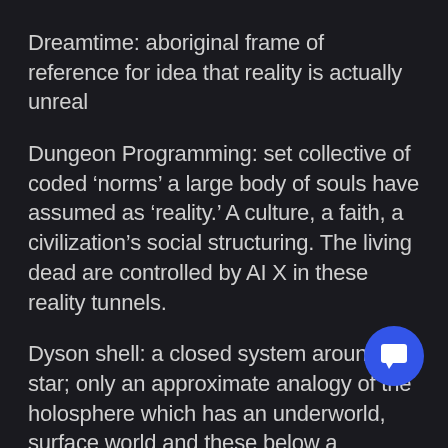Dreamtime: aboriginal frame of reference for idea that reality is actually unreal
Dungeon Programming: set collective of coded ‘norms’ a large body of souls have assumed as ‘reality.’ A culture, a faith, a civilization’s social structuring. The living dead are controlled by AI X in these reality tunnels.
Dyson shell: a closed system around a star; only an approximate analogy of the holosphere which has an underworld, surface world and these below a stellasphere
Edit: an edit is a correction in the holography